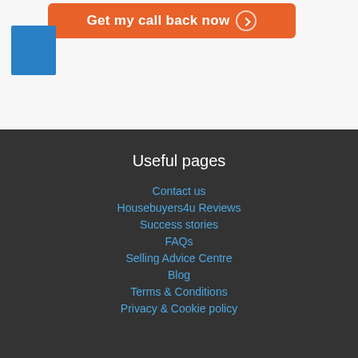[Figure (other): Orange call-back button with text 'Get my call back now' and a circular arrow icon]
[Figure (other): Blue square icon/logo element]
Useful pages
Contact us
Housebuyers4u Reviews
Success stories
FAQs
Selling Advice Centre
Blog
Terms & Conditions
Privacy & Cookie policy